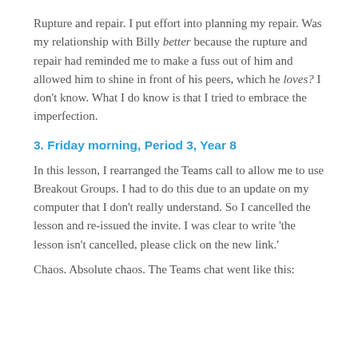Rupture and repair. I put effort into planning my repair. Was my relationship with Billy better because the rupture and repair had reminded me to make a fuss out of him and allowed him to shine in front of his peers, which he loves? I don't know. What I do know is that I tried to embrace the imperfection.
3. Friday morning, Period 3, Year 8
In this lesson, I rearranged the Teams call to allow me to use Breakout Groups. I had to do this due to an update on my computer that I don't really understand. So I cancelled the lesson and re-issued the invite. I was clear to write ‘the lesson isn’t cancelled, please click on the new link.’
Chaos. Absolute chaos. The Teams chat went like this: